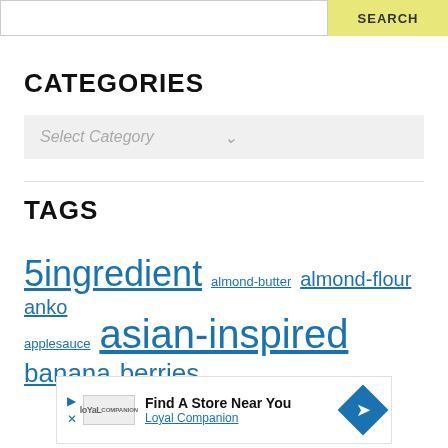[Figure (screenshot): Search bar with input field and yellow SEARCH button at top]
CATEGORIES
Select Category (dropdown)
TAGS
5ingredient  almond-butter  almond-flour  anko
applesauce  asian-inspired  banana  berries
[Figure (screenshot): Loyal Companion advertisement banner: Find A Store Near You]